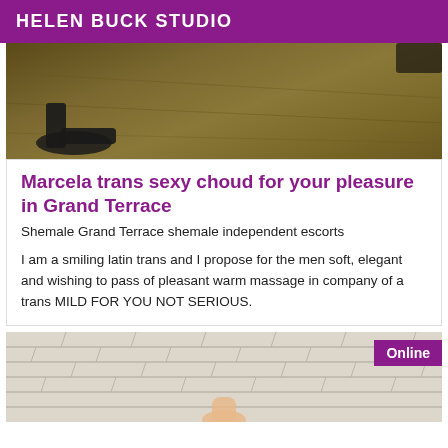HELEN BUCK STUDIO
[Figure (photo): Top portion of a photo showing feet/shoes on a golden/olive colored fabric or surface]
Marcela trans sexy choud for your pleasure in Grand Terrace
Shemale Grand Terrace shemale independent escorts
I am a smiling latin trans and I propose for the men soft, elegant and wishing to pass of pleasant warm massage in company of a trans MILD FOR YOU NOT SERIOUS.
[Figure (photo): Bottom photo showing a stone/brick wall background with an Online badge in purple at the top right, and a partial view of a person at the bottom]